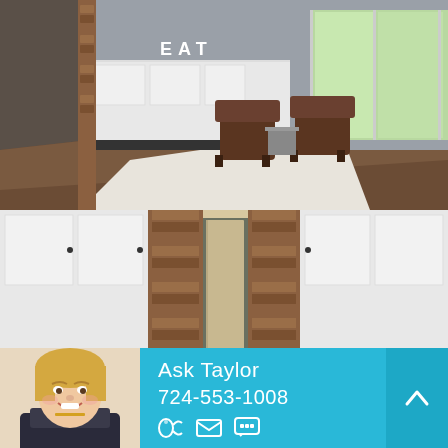[Figure (photo): Interior photo of a home showing a sitting area with two brown leather chairs on a white rug, white kitchen cabinets with brick accent column, and large windows with a green yard view outside. Hardwood floors and 'EAT' sign visible.]
[Figure (photo): Interior photo of a home showing a mudroom/entryway with brick accent columns flanking a doorway, white kitchen cabinets, brick backsplash, hooks with a backpack hanging, and kitchen items including a wine bottle and bucket on the counter.]
[Figure (photo): Headshot of a smiling blonde woman (real estate agent Taylor) in a professional photo.]
Ask Taylor
724-553-1008